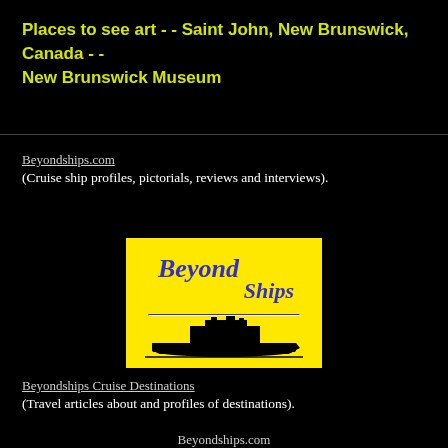Places to see art - - Saint John, New Brunswick, Canada - - New Brunswick Museum
Beyondships.com
(Cruise ship profiles, pictorials, reviews and interviews).
[Figure (logo): Beyond Ships logo on yellow background with ship silhouette]
Beyondships Cruise Destinations
(Travel articles about and profiles of destinations).
Beyondships.com